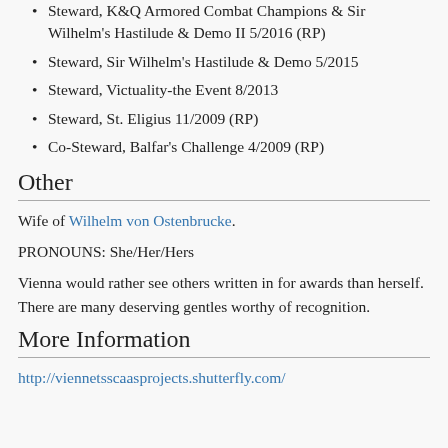Steward, K&Q Armored Combat Champions & Sir Wilhelm's Hastilude & Demo II 5/2016 (RP)
Steward, Sir Wilhelm's Hastilude & Demo 5/2015
Steward, Victuality-the Event 8/2013
Steward, St. Eligius 11/2009 (RP)
Co-Steward, Balfar's Challenge 4/2009 (RP)
Other
Wife of Wilhelm von Ostenbrucke.
PRONOUNS: She/Her/Hers
Vienna would rather see others written in for awards than herself. There are many deserving gentles worthy of recognition.
More Information
http://viennetsscaasprojects.shutterfly.com/